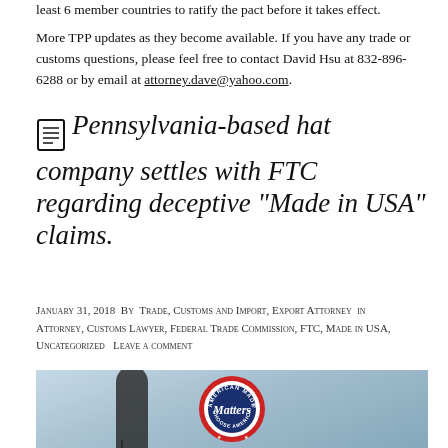least 6 member countries to ratify the pact before it takes effect.
More TPP updates as they become available. If you have any trade or customs questions, please feel free to contact David Hsu at 832-896-6288 or by email at attorney.dave@yahoo.com.
Pennsylvania-based hat company settles with FTC regarding deceptive “Made in USA” claims.
January 31, 2018  By  Trade, Customs and Import, Export Attorney  in  Attorney, Customs Lawyer, Federal Trade Commission, FTC, Made in USA, Uncategorized   Leave a comment
[Figure (photo): Photograph of a vintage microphone with an 'American Made Matters – Choose American' badge/pin in the foreground against a light blue background.]